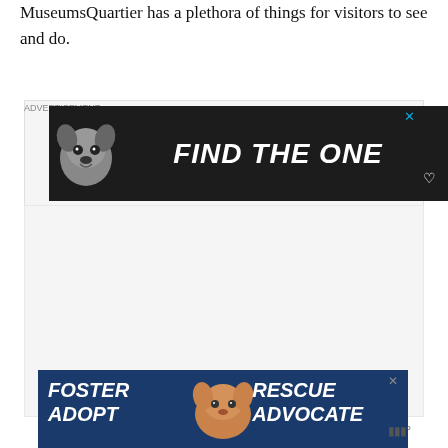MuseumsQuartier has a plethora of things for visitors to see and do.
[Figure (screenshot): Advertisement banner with dark background showing a dog and text 'FIND THE ONE' with close button and heart icon]
[Figure (screenshot): Large empty light gray advertisement area]
[Figure (screenshot): Advertisement banner with dark blue background showing a dog and text 'FOSTER ADOPT' on left and 'RESCUE ADVOCATE' on right, with close button and mute icon]